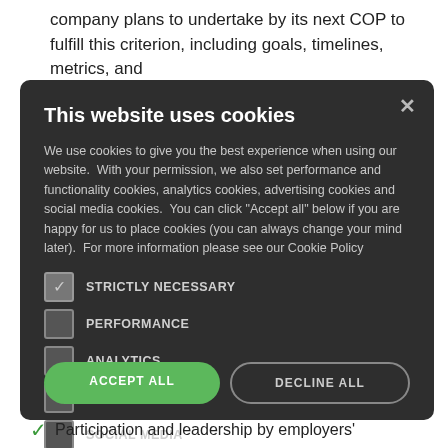company plans to undertake by its next COP to fulfill this criterion, including goals, timelines, metrics, and
[Figure (screenshot): Cookie consent modal dialog on a dark background with title 'This website uses cookies', descriptive text about cookie usage, checkboxes for STRICTLY NECESSARY (checked), PERFORMANCE, ANALYTICS, FUNCTIONALITY, SOCIAL MEDIA, and two buttons: ACCEPT ALL (green) and DECLINE ALL (outlined).]
Participation and leadership by employers'